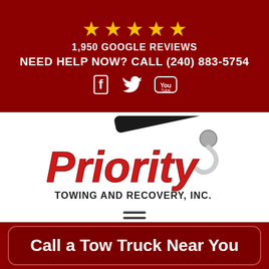[Figure (infographic): Dark red banner with 5 gold stars, text '1,950 GOOGLE REVIEWS', 'NEED HELP NOW? CALL (240) 883-5754', and social media icons for Facebook, Twitter, and YouTube]
[Figure (logo): Priority Towing and Recovery, Inc. logo with red italic text and a tow hook graphic on white background, with hamburger menu icon below]
Towing The Manors
Call a Tow Truck Near You